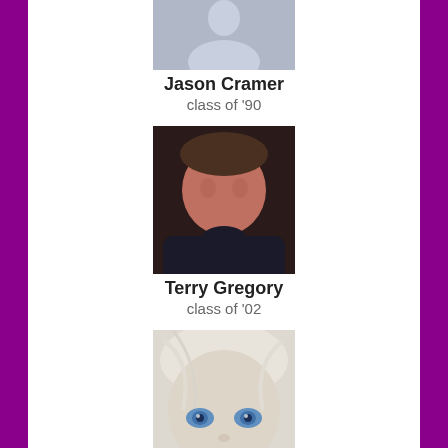[Figure (photo): Silhouette placeholder photo for Jason Cramer]
Jason Cramer
class of '90
[Figure (photo): Portrait photo of Terry Gregory, a heavyset young man in a dark shirt]
Terry Gregory
class of '02
[Figure (photo): Close-up photo of Lizbeth Crissman, a young child with light blonde hair and blue eyes]
Lizbeth Crissman
class of '78
[Figure (photo): Partial silhouette placeholder photo at bottom of page]